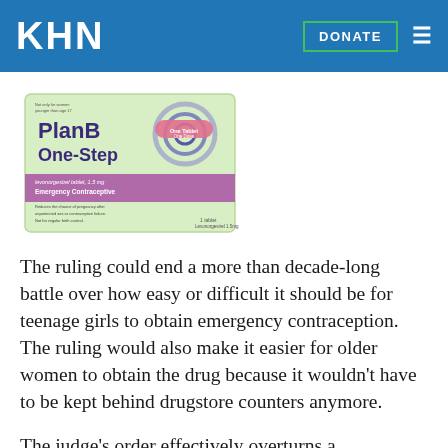KHN
[Figure (photo): Plan B One-Step emergency contraceptive pill box packaging, light green box with purple and pink label, shown at slight angle]
The ruling could end a more than decade-long battle over how easy or difficult it should be for teenage girls to obtain emergency contraception. The ruling would also make it easier for older women to obtain the drug because it wouldn't have to be kept behind drugstore counters anymore.
The judge's order effectively overturns a controversial 2011 decision by Secretary of Health and Human Services Kathleen Sebelius overruling